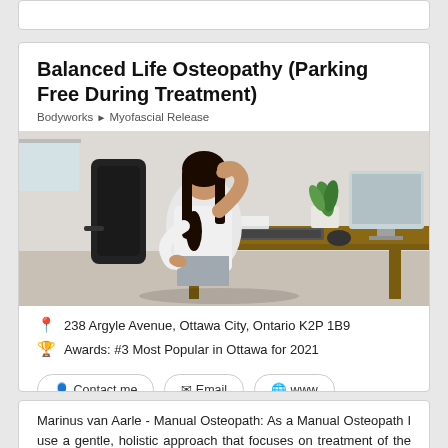Balanced Life Osteopathy (Parking Free During Treatment)
Bodyworks > Myofascial Release
[Figure (photo): Woman sitting at a desk holding her neck and lower back in pain, suggesting musculoskeletal discomfort, with a computer monitor and plant in the background]
238 Argyle Avenue, Ottawa City, Ontario K2P 1B9
Awards: #3 Most Popular in Ottawa for 2021
Contact me  Email  www
Marinus van Aarle - Manual Osteopath: As a Manual Osteopath I use a gentle, holistic approach that focuses on treatment of the body's